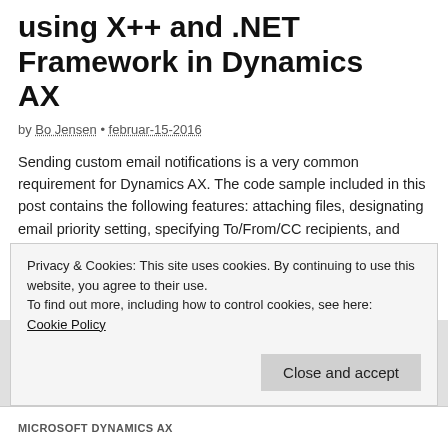Sending email notifications using X++ and .NET Framework in Dynamics AX
by Bo Jensen • februar-15-2016
Sending custom email notifications is a very common requirement for Dynamics AX. The code sample included in this post contains the following features: attaching files, designating email priority setting, specifying To/From/CC recipients, and populating the subject line and body of the email. It's assumed that you already have an operational SMTP server which is accessible...
Privacy & Cookies: This site uses cookies. By continuing to use this website, you agree to their use.
To find out more, including how to control cookies, see here: Cookie Policy
MICROSOFT DYNAMICS AX